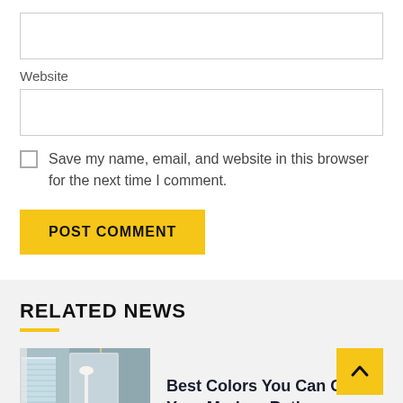Website
Save my name, email, and website in this browser for the next time I comment.
POST COMMENT
RELATED NEWS
[Figure (photo): Interior photo of a modern bathroom with grey walls, white curtains, chandelier, flowers and marble vanity]
Best Colors You Can Choos Your Modern Bathroom Vanities